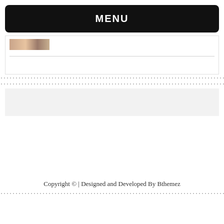MENU
[Figure (photo): Small thumbnail image of a person, partially visible at top of card area]
Copyright © | Designed and Developed By Bthemez